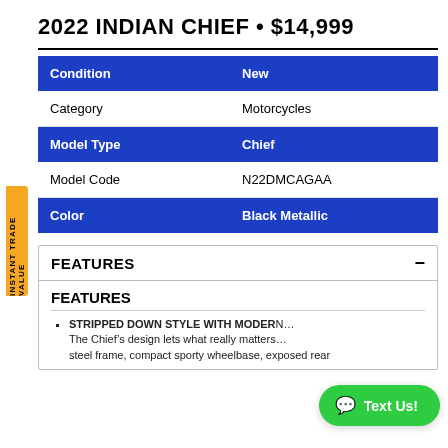2022 INDIAN CHIEF • $14,999
| Field | Value |
| --- | --- |
| Condition | New |
| Category | Motorcycles |
| Model Type | Chief |
| Model Code | N22DMCAGAA |
| Color | Black Metallic |
FEATURES
FEATURES
STRIPPED DOWN STYLE WITH MODERN PERFORMANCE The Chief's design lets what really matters shine — steel frame, compact sporty wheelbase, exposed rear